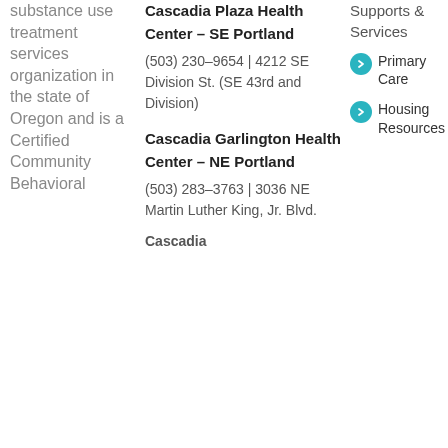substance use treatment services organization in the state of Oregon and is a Certified Community Behavioral
Cascadia Plaza Health Center – SE Portland (503) 230-9654 | 4212 SE Division St. (SE 43rd and Division)
Cascadia Garlington Health Center – NE Portland (503) 283-3763 | 3036 NE Martin Luther King, Jr. Blvd.
Supports & Services
Primary Care
Housing Resources
LEARN MORE ABOUT US